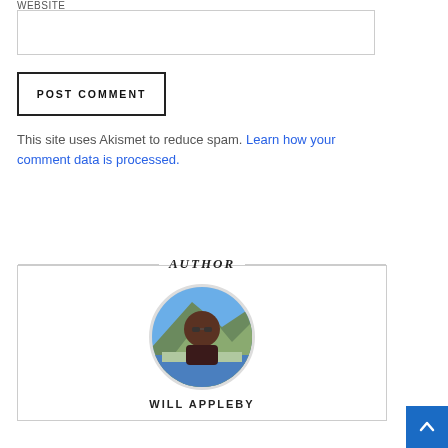WEBSITE
[Figure (other): Empty text input box for website field]
[Figure (other): POST COMMENT button with border]
This site uses Akismet to reduce spam. Learn how your comment data is processed.
AUTHOR
[Figure (photo): Circular author photo showing a person wearing sunglasses with a coastal landscape background]
WILL APPLEBY